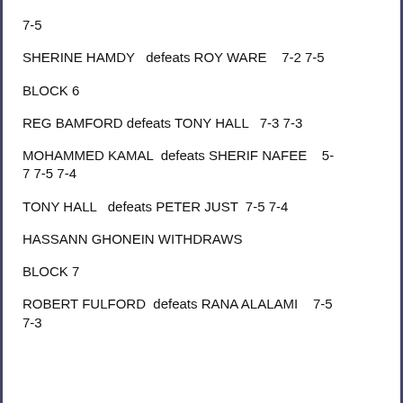7-5
SHERINE HAMDY   defeats ROY WARE    7-2 7-5
BLOCK 6
REG BAMFORD defeats TONY HALL   7-3 7-3
MOHAMMED KAMAL  defeats SHERIF NAFEE    5-7 7-5 7-4
TONY HALL   defeats PETER JUST  7-5 7-4
HASSANN GHONEIN WITHDRAWS
BLOCK 7
ROBERT FULFORD  defeats RANA ALALAMI    7-5 7-3